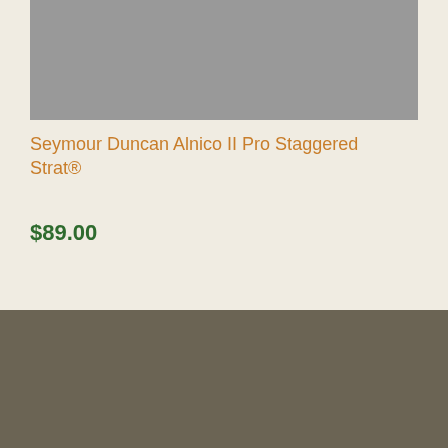[Figure (photo): Product image placeholder (gray rectangle) for Seymour Duncan Alnico II Pro Staggered Strat pickup]
Seymour Duncan Alnico II Pro Staggered Strat®
$89.00
GUITAR
VIEW ALL GUITAR NECK MODELS
Will It Fit My Guitar Body?